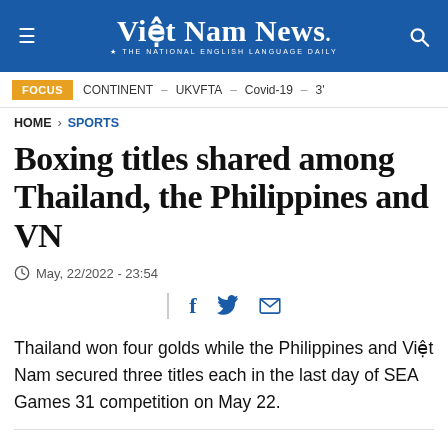Việt Nam News. THE NATIONAL ENGLISH LANGUAGE DAILY
FOCUS   CONTINENT – UKVFTA – Covid-19 – 3'
HOME > SPORTS
Boxing titles shared among Thailand, the Philippines and VN
May, 22/2022 - 23:54
Thailand won four golds while the Philippines and Việt Nam secured three titles each in the last day of SEA Games 31 competition on May 22.